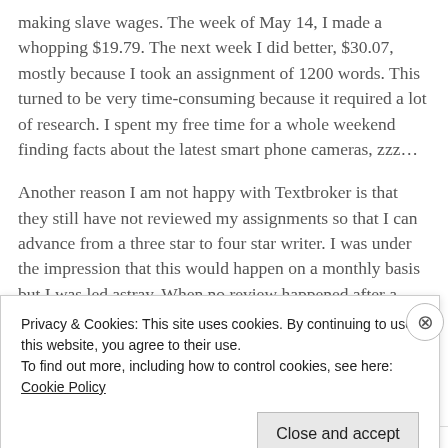making slave wages. The week of May 14, I made a whopping $19.79. The next week I did better, $30.07, mostly because I took an assignment of 1200 words. This turned to be very time-consuming because it required a lot of research. I spent my free time for a whole weekend finding facts about the latest smart phone cameras, zzz...
Another reason I am not happy with Textbroker is that they still have not reviewed my assignments so that I can advance from a three star to four star writer. I was under the impression that this would happen on a monthly basis but I was led astray. When no review happened after a month, I searched
Privacy & Cookies: This site uses cookies. By continuing to use this website, you agree to their use.
To find out more, including how to control cookies, see here: Cookie Policy
Close and accept